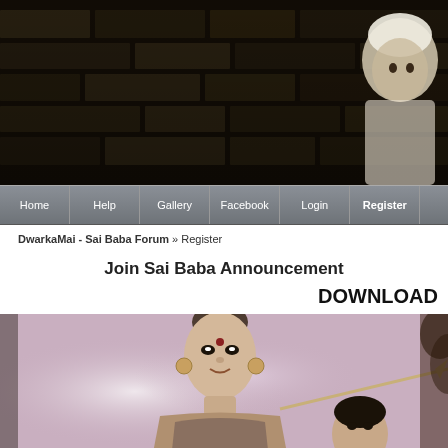[Figure (photo): Website header banner with dark stone wall background and a figure in white headwear on the right side]
[Figure (screenshot): Navigation bar with menu items: Home, Help, Gallery, Facebook, Login, Register (Register is bold/active)]
DwarkaMai - Sai Baba Forum » Register
Join Sai Baba Announcement
DOWNLOAD
[Figure (photo): Religious illustration showing Hindu deity figures (Lord Shiva and another figure) on a pink/purple background with a spear/trident]